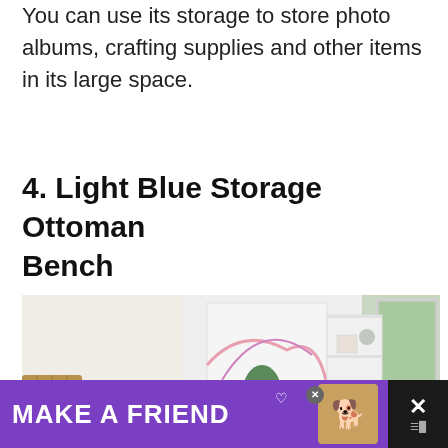You can use its storage to store photo albums, crafting supplies and other items in its large space.
4. Light Blue Storage Ottoman Bench
[Figure (photo): A light blue upholstered storage ottoman bench in a bright room with white shelving unit, wicker basket, a plant, and artwork on wall. Two UI buttons (heart and share) visible on the right side of the image.]
[Figure (screenshot): Advertisement banner at bottom: 'MAKE A FRIEND' with purple background, dog image with heart symbols, close button (X), and dismiss controls on the right.]